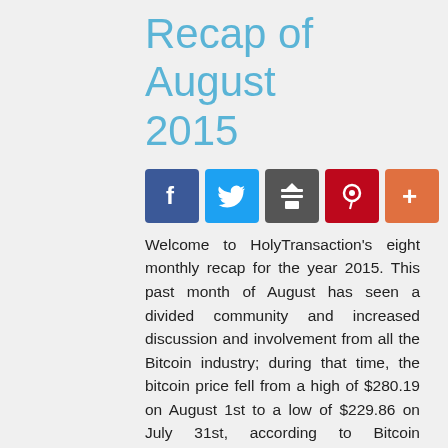Recap of August 2015
[Figure (infographic): Social sharing buttons: Facebook (blue), Twitter (light blue), Share (dark gray), Pinterest (red), Plus/AddThis (orange)]
Welcome to HolyTransaction's eight monthly recap for the year 2015. This past month of August has seen a divided community and increased discussion and involvement from all the Bitcoin industry; during that time, the bitcoin price fell from a high of $280.19 on August 1st to a low of $229.86 on July 31st, according to Bitcoin exchange Bitstamp.
Failed Bitcoin Exchange Mt. Gox CEO Mark Karpeles Arrested in Japan
https://bitcoinist.net/mark-karpeles-admits-tweaking-mt-gox-user-balances-millions-dollars/
Earlier this month, Mt. Gox's CEO Mark Karpeles was arrested in Japan in connection with his failed Bitcoin exchange. Mt. Gox was notably Bitcoin's first